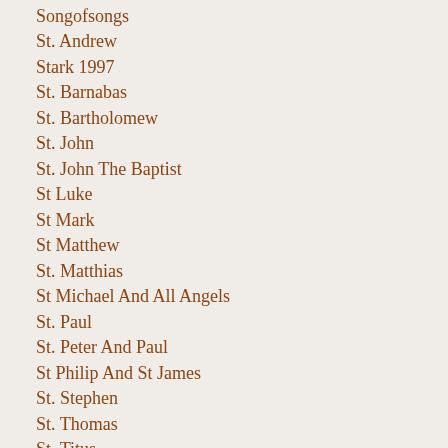Songofsongs
St. Andrew
Stark 1997
St. Barnabas
St. Bartholomew
St. John
St. John The Baptist
St Luke
St Mark
St Matthew
St. Matthias
St Michael And All Angels
St. Paul
St. Peter And Paul
St Philip And St James
St. Stephen
St. Thomas
St. Titus
Sunday Of The First...